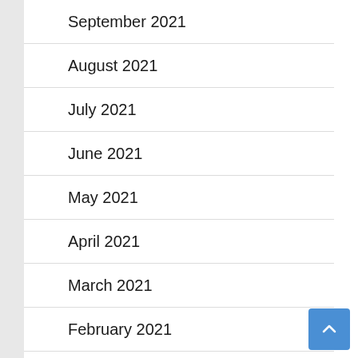September 2021
August 2021
July 2021
June 2021
May 2021
April 2021
March 2021
February 2021
February 2018